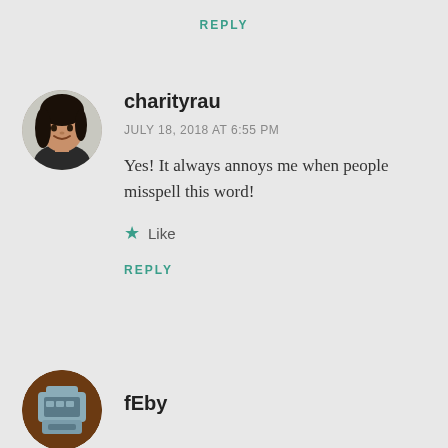REPLY
[Figure (photo): Circular avatar photo of a woman with dark hair smiling]
charityrau
JULY 18, 2018 AT 6:55 PM
Yes! It always annoys me when people misspell this word!
Like
REPLY
[Figure (illustration): Circular avatar icon with brown and gray robot/game controller design]
fEby